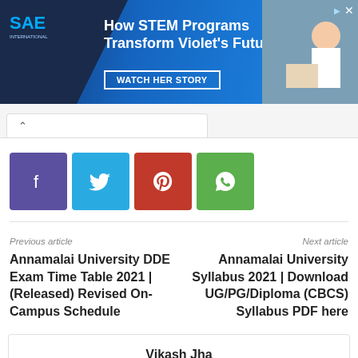[Figure (screenshot): SAE banner advertisement: How STEM Programs Transform Violet's Future - Watch Her Story]
[Figure (screenshot): Browser tab bar with active tab showing chevron up icon]
[Figure (infographic): Social share buttons: Facebook (purple), Twitter (blue), Pinterest (red), WhatsApp (green)]
Previous article
Next article
Annamalai University DDE Exam Time Table 2021 | (Released) Revised On-Campus Schedule
Annamalai University Syllabus 2021 | Download UG/PG/Diploma (CBCS) Syllabus PDF here
Vikash Jha
Being a Literature student, I have been very much into academics